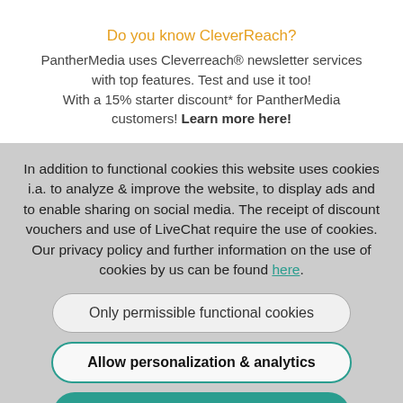Do you know CleverReach?
PantherMedia uses Cleverreach® newsletter services with top features. Test and use it too! With a 15% starter discount* for PantherMedia customers! Learn more here!
In addition to functional cookies this website uses cookies i.a. to analyze & improve the website, to display ads and to enable sharing on social media. The receipt of discount vouchers and use of LiveChat require the use of cookies. Our privacy policy and further information on the use of cookies by us can be found here.
Only permissible functional cookies
Allow personalization & analytics
Accept all cookies